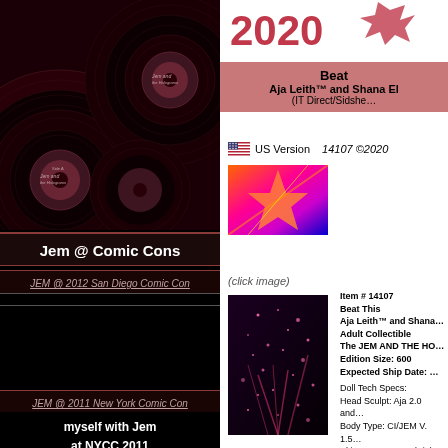[Figure (photo): Vinyl records stacked, dark reddish background, left panel top]
Jem @ Comic Cons
JEM @ 2012 San Diego Comic Con
[Figure (photo): Black image area - Comic Con photo placeholder]
JEM @ 2011 New York Comic Con & UNIT•E
myself with Jem
at NYCC 2011
[Figure (logo): 2020 logo with cat, top right]
Beat This
Aja Leith™ and Shana El…
(IT Direct/Sidshe…
US Version    14107 ©2020
[Figure (photo): Colorful album cover art, orange/pink/purple]
(click image)
[Figure (photo): Dark product box image with pink sparkles/fireworks]
Item # 14107
Beat This
Aja Leith™ and Shana…
Adult Collectible
The JEM AND THE HO…
Edition Size: 600
Expected Ship Date: …

Doll Tech Specs:
Head Sculpt: Aja 2.0 and…
Body Type: CI/JEM V. 1.5…
Skin Tone: Cream (Aja) a…
Hair Color: Sky Blue (Aja…
Eyelashes: Yes, Hand-ap…
Quickswitch: No…